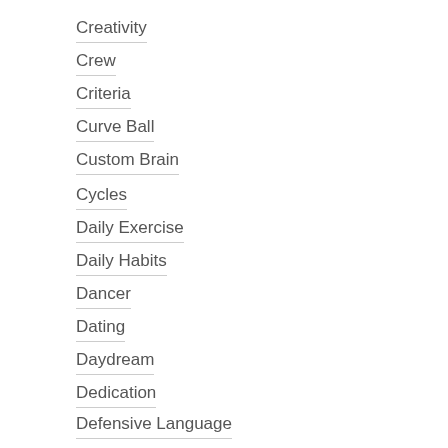Creativity
Crew
Criteria
Curve Ball
Custom Brain
Cycles
Daily Exercise
Daily Habits
Dancer
Dating
Daydream
Dedication
Defensive Language